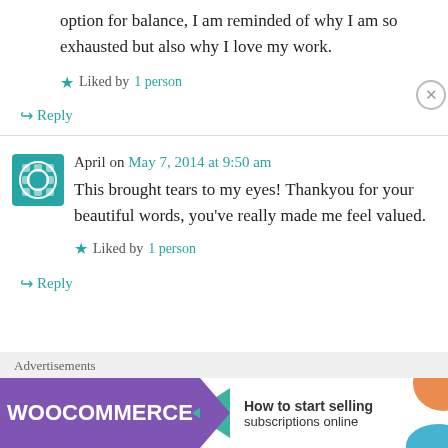option for balance, I am reminded of why I am so exhausted but also why I love my work.
Liked by 1 person
Reply
April on May 7, 2014 at 9:50 am
This brought tears to my eyes! Thankyou for your beautiful words, you've really made me feel valued.
Liked by 1 person
Reply
Advertisements
[Figure (screenshot): WooCommerce advertisement banner: 'How to start selling subscriptions online']